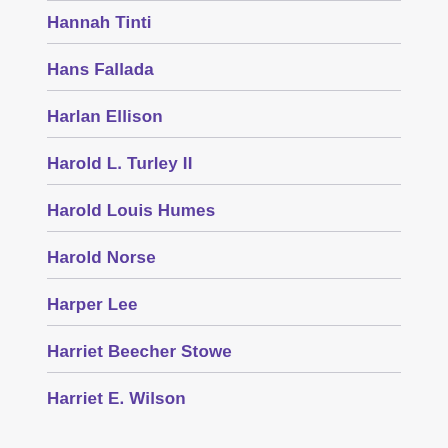Hannah Tinti
Hans Fallada
Harlan Ellison
Harold L. Turley II
Harold Louis Humes
Harold Norse
Harper Lee
Harriet Beecher Stowe
Harriet E. Wilson